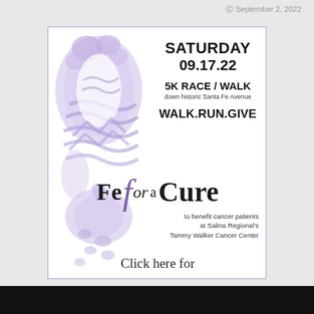September 2, 2022
[Figure (illustration): Event advertisement for 'Fe for a Cure' 5K Race/Walk on Saturday 09.17.22, featuring a boot print graphic in lavender/purple tones on the left side and event details on the right. The ad promotes a 5K race/walk down historic Santa Fe Avenue benefiting cancer patients at Salina Regional's Tammy Walker Cancer Center. Tagline: WALK.RUN.GIVE. Includes a 'Click here for' call to action at the bottom.]